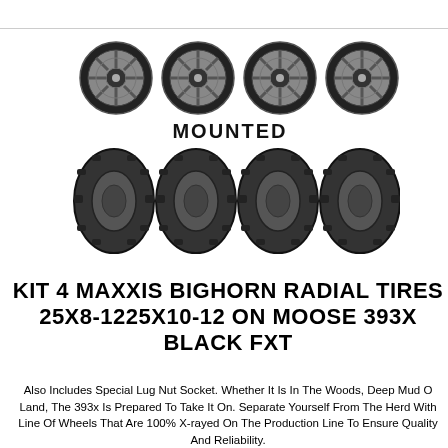[Figure (photo): Four black alloy wheels (top row) and four black off-road tires (bottom row) arranged side by side, with the word MOUNTED in bold black text between the two rows.]
KIT 4 MAXXIS BIGHORN RADIAL TIRES 25X8-1225X10-12 ON MOOSE 393X BLACK FXT
Also Includes Special Lug Nut Socket. Whether It Is In The Woods, Deep Mud Or Land, The 393x Is Prepared To Take It On. Separate Yourself From The Herd With Line Of Wheels That Are 100% X-rayed On The Production Line To Ensure Quality And Reliability.